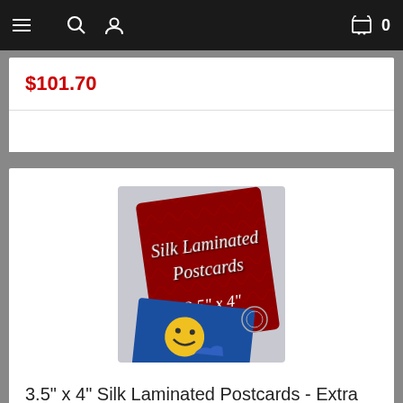Navigation bar with menu, search, user icons and cart
$101.70
[Figure (photo): Product image showing Silk Laminated Postcards 3.5 x 4 inches - a red silk fabric background with a dark card displaying script text 'Silk Laminated Postcards 3.5 x 4' and a blue card in front with a smiley face]
3.5" x 4" Silk Laminated Postcards - Extra Heavy Card Stock with Spot UV on One Side
$148.51